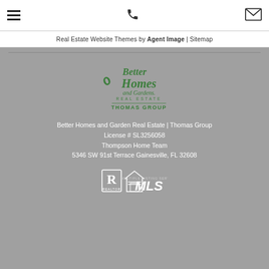Real Estate Website Themes by Agent Image | Sitemap
[Figure (logo): Better Homes and Gardens Real Estate logo with Thomas Group text below]
Better Homes and Garden Real Estate | Thomas Group
License # SL3256058
Thompson Home Team
5346 SW 91st Terrace Gainesville, FL 32608
[Figure (logo): Realtor, Equal Housing, and MLS logos]